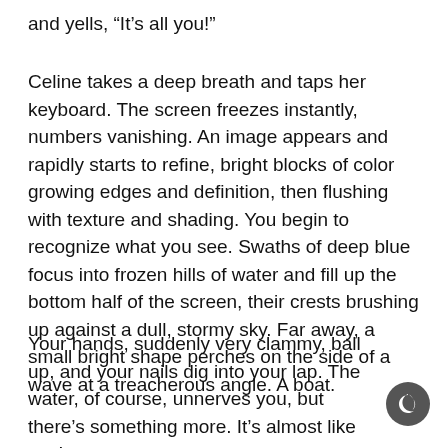and yells, “It’s all you!”
Celine takes a deep breath and taps her keyboard. The screen freezes instantly, numbers vanishing. An image appears and rapidly starts to refine, bright blocks of color growing edges and definition, then flushing with texture and shading. You begin to recognize what you see. Swaths of deep blue focus into frozen hills of water and fill up the bottom half of the screen, their crests brushing up against a dull, stormy sky. Far away, a small bright shape perches on the side of a wave at a treacherous angle. A boat.
Your hands, suddenly very clammy, ball up, and your nails dig into your lap. The water, of course, unnerves you, but there’s something more. It’s almost like you’re